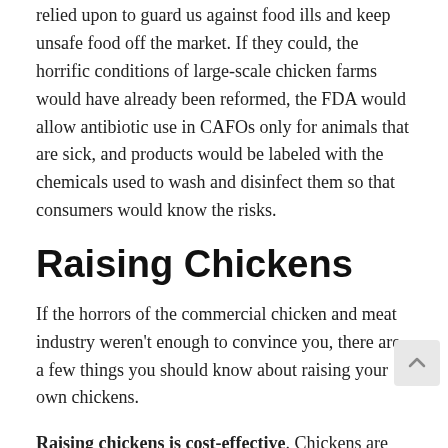relied upon to guard us against food ills and keep unsafe food off the market. If they could, the horrific conditions of large-scale chicken farms would have already been reformed, the FDA would allow antibiotic use in CAFOs only for animals that are sick, and products would be labeled with the chemicals used to wash and disinfect them so that consumers would know the risks.
Raising Chickens
If the horrors of the commercial chicken and meat industry weren't enough to convince you, there are a few things you should know about raising your own chickens.
Raising chickens is cost-effective. Chickens are foragers, so you can supplement their feed diet by turning them loose in the yard to hunt for insects,